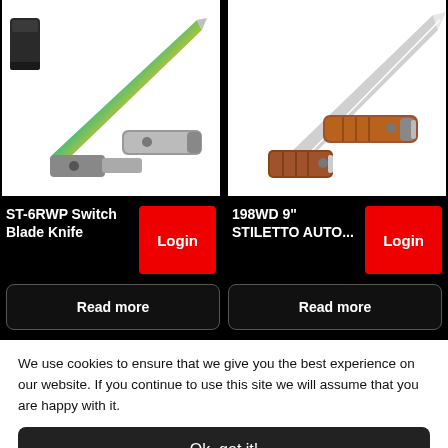[Figure (photo): ST-6RWP Switch Blade Knife product image showing colorful iridescent blade and folded knife, with black pouch]
[Figure (photo): 198WD 9" Stiletto Auto knife product image showing blade open and handle closed, wooden handle]
ST-6RWP Switch Blade Knife
Login
198WD 9" STILETTO AUTO...
Login
Read more
Read more
We use cookies to ensure that we give you the best experience on our website. If you continue to use this site we will assume that you are happy with it.
Ok, got it!